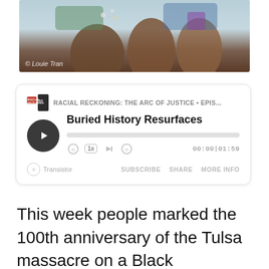[Figure (photo): Photo of people in traditional Native American regalia with colorful embroidered clothing and fur accessories, with photo credit to Louie Tran]
[Figure (screenshot): Podcast player embed from Transistor showing episode 'Buried History Resurfaces' from 'Racial Reckoning: The Arc of Justice' podcast, with play button, progress bar, controls, and timestamp 00:00|01:59]
This week people marked the 100th anniversary of the Tulsa massacre on a Black neighborhood , and mourned the loss of 215 Native children whose bodies were